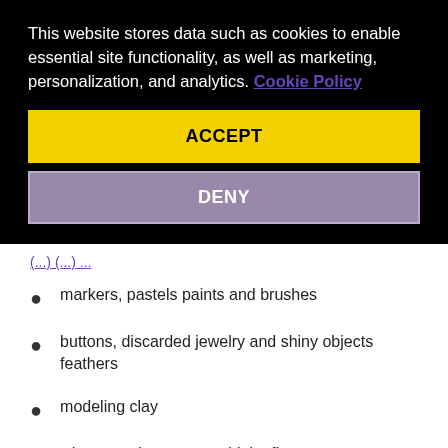This website stores data such as cookies to enable essential site functionality, as well as marketing, personalization, and analytics. Cookie Policy
ACCEPT
DENY
markers, pastels paints and brushes
buttons, discarded jewelry and shiny objects feathers
modeling clay
whatever else you can think of!